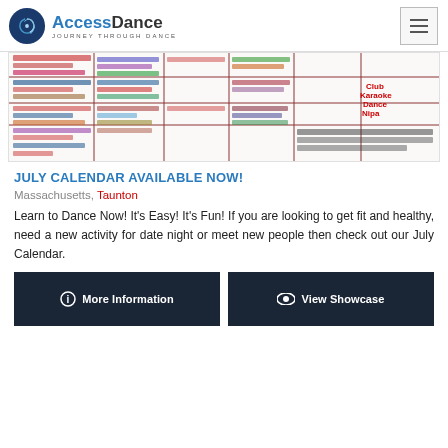AccessDance — Journey Through Dance
[Figure (screenshot): A dance class calendar table showing scheduled dance classes with colored text entries across multiple days and time slots.]
JULY CALENDAR AVAILABLE NOW!
Massachusetts, Taunton
Learn to Dance Now! It's Easy! It's Fun! If you are looking to get fit and healthy, need a new activity for date night or meet new people then check out our July Calendar.
More Information | View Showcase